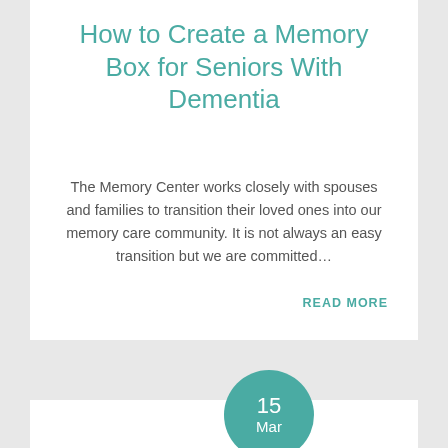How to Create a Memory Box for Seniors With Dementia
The Memory Center works closely with spouses and families to transition their loved ones into our memory care community. It is not always an easy transition but we are committed…
READ MORE
15 Mar
Memory Games for Seniors With